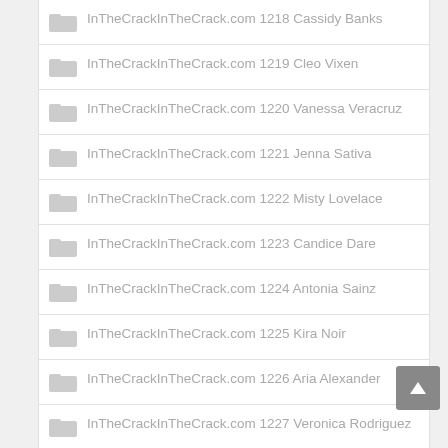InTheCrackInTheCrack.com 1218 Cassidy Banks
InTheCrackInTheCrack.com 1219 Cleo Vixen
InTheCrackInTheCrack.com 1220 Vanessa Veracruz
InTheCrackInTheCrack.com 1221 Jenna Sativa
InTheCrackInTheCrack.com 1222 Misty Lovelace
InTheCrackInTheCrack.com 1223 Candice Dare
InTheCrackInTheCrack.com 1224 Antonia Sainz
InTheCrackInTheCrack.com 1225 Kira Noir
InTheCrackInTheCrack.com 1226 Aria Alexander
InTheCrackInTheCrack.com 1227 Veronica Rodriguez
InTheCrackInTheCrack.com 1228 Leah Gotti